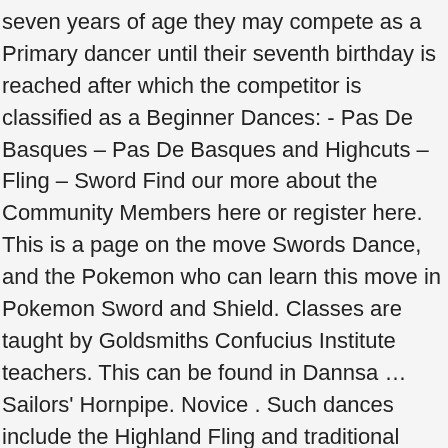seven years of age they may compete as a Primary dancer until their seventh birthday is reached after which the competitor is classified as a Beginner Dances: - Pas De Basques – Pas De Basques and Highcuts – Fling – Sword Find our more about the Community Members here or register here. This is a page on the move Swords Dance, and the Pokemon who can learn this move in Pokemon Sword and Shield. Classes are taught by Goldsmiths Confucius Institute teachers. This can be found in Dannsa … Sailors' Hornpipe. Novice . Such dances include the Highland Fling and traditional Sword Dance. Consider getting two or three bokken because eventually you will have to practice sanbon kumitachi (pre-arranged three-point sparring drills) in which more than a little wood-on-wood contact will occur. .. Arranged by Angela